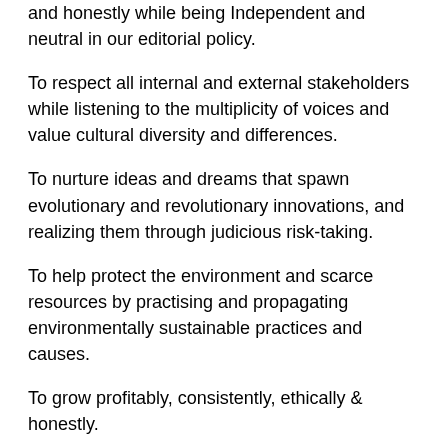and honestly while being Independent and neutral in our editorial policy.
To respect all internal and external stakeholders while listening to the multiplicity of voices and value cultural diversity and differences.
To nurture ideas and dreams that spawn evolutionary and revolutionary innovations, and realizing them through judicious risk-taking.
To help protect the environment and scarce resources by practising and propagating environmentally sustainable practices and causes.
To grow profitably, consistently, ethically & honestly.
Integrity & Independence To practice integrity by acting and taking decisions fairly and honestly while being Independent and neutral in our editorial policy.
Respect and Diversity To respect all internal and